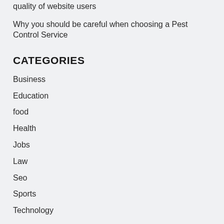quality of website users
Why you should be careful when choosing a Pest Control Service
CATEGORIES
Business
Education
food
Health
Jobs
Law
Seo
Sports
Technology